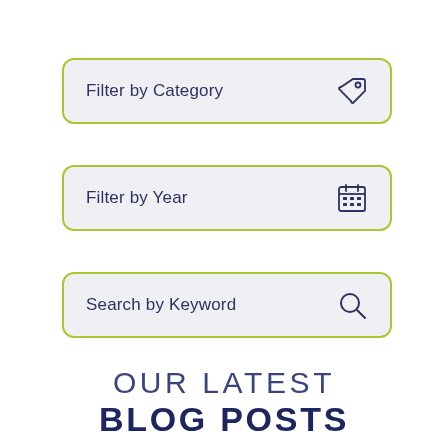[Figure (screenshot): Filter by Category input box with tag icon]
[Figure (screenshot): Filter by Year input box with calendar icon]
[Figure (screenshot): Search by Keyword input box with search icon]
OUR LATEST BLOG POSTS